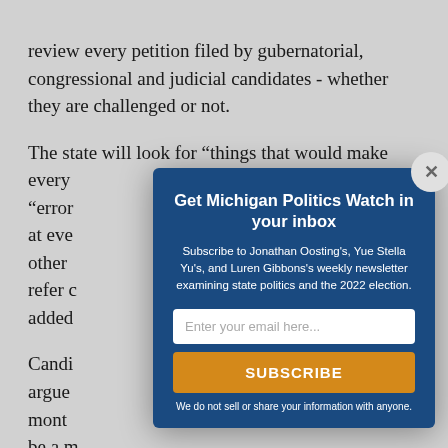review every petition filed by gubernatorial, congressional and judicial candidates - whether they are challenged or not.
The state will look for “things that would make every … “error… at eve… other… refer c… added…
Candi… argue… mont… be a n… asked… and m…
[Figure (other): Email newsletter subscription modal popup overlay for Michigan Politics Watch. Contains title 'Get Michigan Politics Watch in your inbox', subscription description text, email input field, SUBSCRIBE button, and disclaimer.]